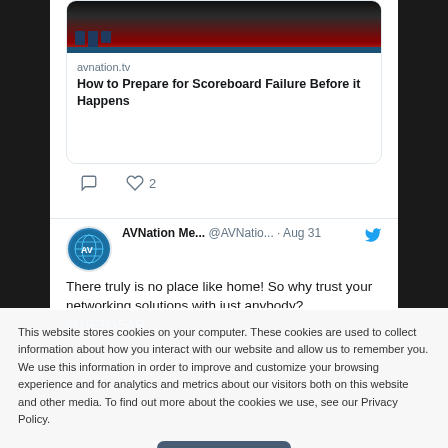[Figure (screenshot): Article card with image and title: avnation.tv - How to Prepare for Scoreboard Failure Before it Happens]
avnation.tv
How to Prepare for Scoreboard Failure Before it Happens
♡ 2
AVNation Me... @AVNatio... · Aug 31
There truly is no place like home! So why trust your networking solutions with just anybody? @NETGEAR provides premium
This website stores cookies on your computer. These cookies are used to collect information about how you interact with our website and allow us to remember you. We use this information in order to improve and customize your browsing experience and for analytics and metrics about our visitors both on this website and other media. To find out more about the cookies we use, see our Privacy Policy.
Accept